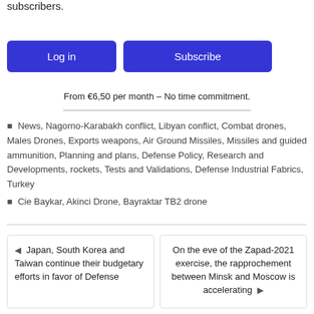subscribers.
Log in | Subscribe
From €6,50 per month – No time commitment.
News, Nagorno-Karabakh conflict, Libyan conflict, Combat drones, Males Drones, Exports weapons, Air Ground Missiles, Missiles and guided ammunition, Planning and plans, Defense Policy, Research and Developments, rockets, Tests and Validations, Defense Industrial Fabrics, Turkey
Cie Baykar, Akinci Drone, Bayraktar TB2 drone
Japan, South Korea and Taiwan continue their budgetary efforts in favor of Defense
On the eve of the Zapad-2021 exercise, the rapprochement between Minsk and Moscow is accelerating